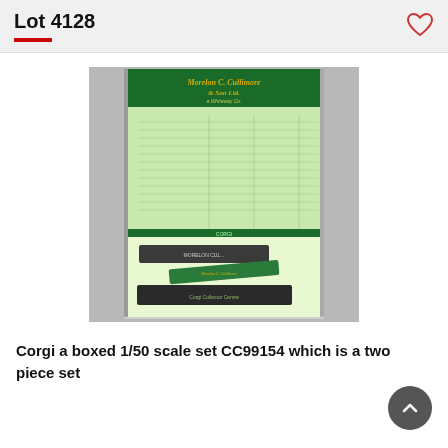Lot 4128
[Figure (photo): Corgi 1/50 scale set CC99154, a two-piece boxed set. The product shows a green-themed display box opened, revealing a fold-out price list/catalog on the upper half labeled 'Morelon C. Cullimore & Son Ltd.' and a white lower box section containing scale model vehicles and packaging items.]
Corgi a boxed 1/50 scale set CC99154 which is a two piece set